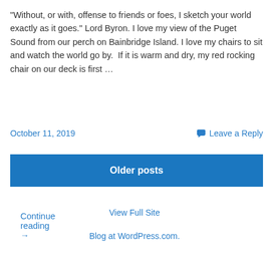"Without, or with, offense to friends or foes, I sketch your world exactly as it goes." Lord Byron. I love my view of the Puget Sound from our perch on Bainbridge Island. I love my chairs to sit and watch the world go by.  If it is warm and dry, my red rocking chair on our deck is first …
Continue reading →
October 11, 2019
Leave a Reply
Older posts
View Full Site
Blog at WordPress.com.